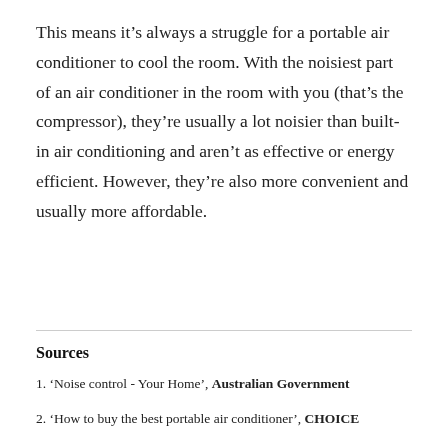This means it’s always a struggle for a portable air conditioner to cool the room. With the noisiest part of an air conditioner in the room with you (that’s the compressor), they’re usually a lot noisier than built-in air conditioning and aren’t as effective or energy efficient. However, they’re also more convenient and usually more affordable.
Sources
1. ‘Noise control - Your Home’, Australian Government
2. ‘How to buy the best portable air conditioner’, CHOICE